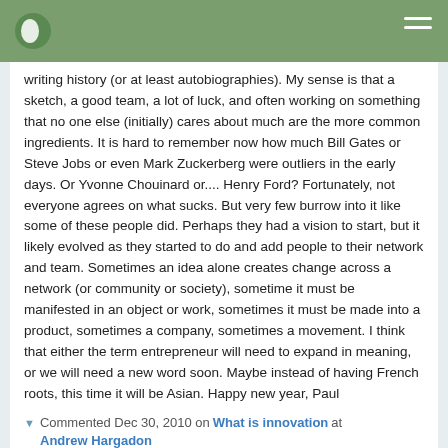Typepad blog header navigation
writing history (or at least autobiographies). My sense is that a sketch, a good team, a lot of luck, and often working on something that no one else (initially) cares about much are the more common ingredients. It is hard to remember now how much Bill Gates or Steve Jobs or even Mark Zuckerberg were outliers in the early days. Or Yvonne Chouinard or.... Henry Ford? Fortunately, not everyone agrees on what sucks. But very few burrow into it like some of these people did. Perhaps they had a vision to start, but it likely evolved as they started to do and add people to their network and team. Sometimes an idea alone creates change across a network (or community or society), sometime it must be manifested in an object or work, sometimes it must be made into a product, sometimes a company, sometimes a movement. I think that either the term entrepreneur will need to expand in meaning, or we will need a new word soon. Maybe instead of having French roots, this time it will be Asian. Happy new year, Paul
Commented Dec 30, 2010 on What is innovation at Andrew Hargadon
Paul Hudnut is now following The Typepad Team